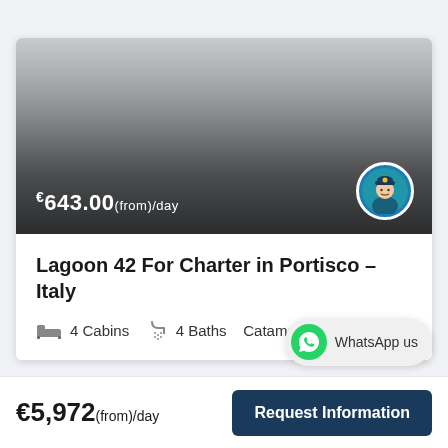[Figure (illustration): Boat listing card banner with gradient grey background showing price overlay and captain avatar icon]
€643.00(from)/day
Lagoon 42 For Charter in Portisco – Italy
4 Cabins   4 Baths   Catamaran
WhatsApp us
€5,972(from)/day
Request Information